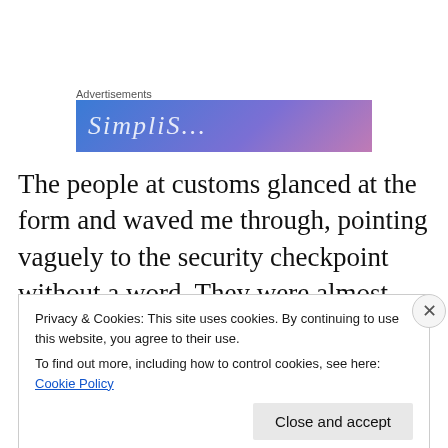Advertisements
[Figure (illustration): Blue-to-purple gradient advertisement banner with partial white italic text visible]
The people at customs glanced at the form and waved me through, pointing vaguely to the security checkpoint without a word. They were almost rude in their bored lack of concern. I found a baggage cart for my carry-ons (boy, wheels are highly underrated) and took the elevator upstairs to a monorail that carried me over to the domestic
Privacy & Cookies: This site uses cookies. By continuing to use this website, you agree to their use.
To find out more, including how to control cookies, see here: Cookie Policy